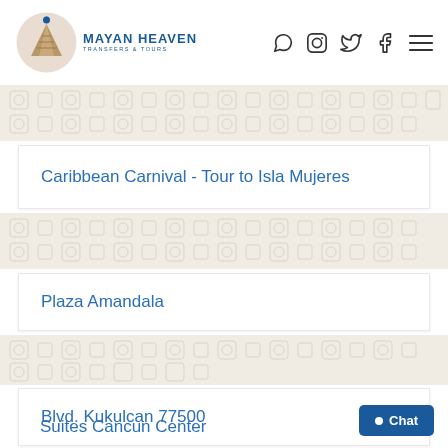[Figure (logo): Mayan Heaven Transfers & Tours logo — circular icon with Mayan pyramid and social icons (WhatsApp, Instagram, Twitter, Facebook, hamburger menu)]
Caribbean Carnival - Tour to Isla Mujeres
Plaza Amandala
Blvd. Kukulcan 77500
Suites Cancun Center